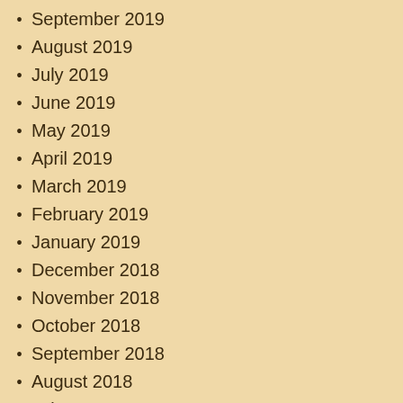September 2019
August 2019
July 2019
June 2019
May 2019
April 2019
March 2019
February 2019
January 2019
December 2018
November 2018
October 2018
September 2018
August 2018
July 2018
June 2018
May 2018
April 2018
March 2018
February 2018
January 2018
December 2017
November 2017
October 2017